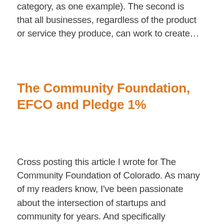category, as one example). The second is that all businesses, regardless of the product or service they produce, can work to create…
The Community Foundation, EFCO and Pledge 1%
Cross posting this article I wrote for The Community Foundation of Colorado. As many of my readers know, I've been passionate about the intersection of startups and community for years. And specifically developing a worldwide movement of startups giving back to their local communities from their very founding. I blog a lot about community…